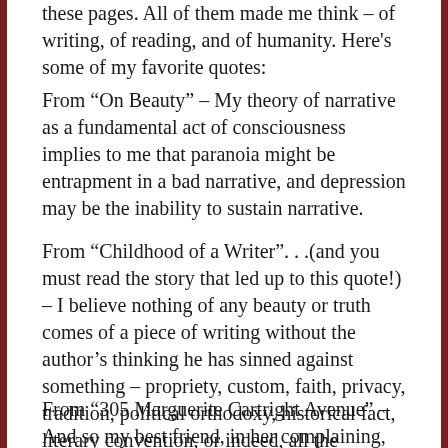these pages. All of them made me think – of writing, of reading, and of humanity. Here's some of my favorite quotes:
From “On Beauty” – My theory of narrative as a fundamental act of consciousness implies to me that paranoia might be entrapment in a bad narrative, and depression may be the inability to sustain narrative.
From “Childhood of a Writer”. . .(and you must read the story that led up to this quote!) – I believe nothing of any beauty or truth comes of a piece of writing without the author’s thinking he has sinned against something – propriety, custom, faith, privacy, tradition, political orthodoxy, historical fact, literary convention, or indeed, all the prevailing community standards together.
From “305 Marguerite Cartright Avenue” – And so my best friend, in her complaining, said to me, “Well, just kill the